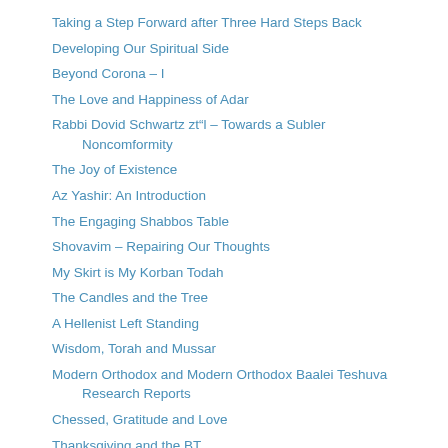Taking a Step Forward after Three Hard Steps Back
Developing Our Spiritual Side
Beyond Corona – I
The Love and Happiness of Adar
Rabbi Dovid Schwartz zt"l – Towards a Subler Noncomformity
The Joy of Existence
Az Yashir: An Introduction
The Engaging Shabbos Table
Shovavim – Repairing Our Thoughts
My Skirt is My Korban Todah
The Candles and the Tree
A Hellenist Left Standing
Wisdom, Torah and Mussar
Modern Orthodox and Modern Orthodox Baalei Teshuva Research Reports
Chessed, Gratitude and Love
Thanksgiving and the BT
The Pain of Forgetting The Mourners Consolation